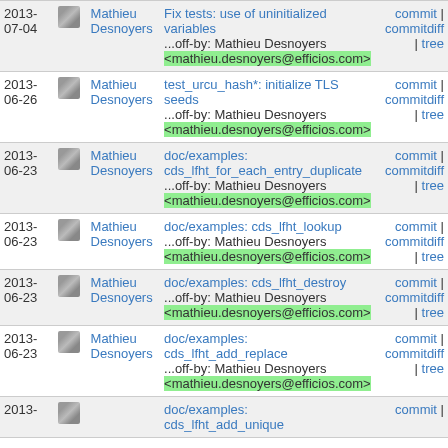| Date |  | Author | Commit | Links |
| --- | --- | --- | --- | --- |
| 2013-07-04 |  | Mathieu Desnoyers | Fix tests: use of uninitialized variables ...off-by: Mathieu Desnoyers <mathieu.desnoyers@efficios.com> | commit | commitdiff | tree |
| 2013-06-26 |  | Mathieu Desnoyers | test_urcu_hash*: initialize TLS seeds ...off-by: Mathieu Desnoyers <mathieu.desnoyers@efficios.com> | commit | commitdiff | tree |
| 2013-06-23 |  | Mathieu Desnoyers | doc/examples: cds_lfht_for_each_entry_duplicate ...off-by: Mathieu Desnoyers <mathieu.desnoyers@efficios.com> | commit | commitdiff | tree |
| 2013-06-23 |  | Mathieu Desnoyers | doc/examples: cds_lfht_lookup ...off-by: Mathieu Desnoyers <mathieu.desnoyers@efficios.com> | commit | commitdiff | tree |
| 2013-06-23 |  | Mathieu Desnoyers | doc/examples: cds_lfht_destroy ...off-by: Mathieu Desnoyers <mathieu.desnoyers@efficios.com> | commit | commitdiff | tree |
| 2013-06-23 |  | Mathieu Desnoyers | doc/examples: cds_lfht_add_replace ...off-by: Mathieu Desnoyers <mathieu.desnoyers@efficios.com> | commit | commitdiff | tree |
| 2013- |  |  | doc/examples: cds_lfht_add_unique | commit | |